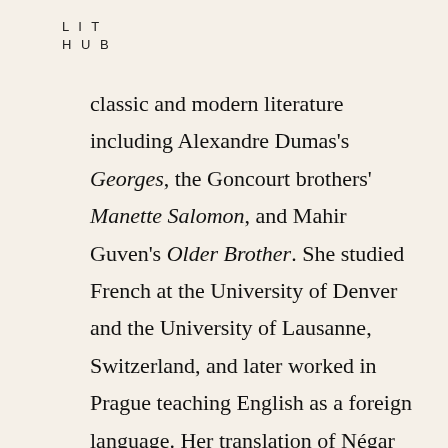LIT
HUB
classic and modern literature including Alexandre Dumas's Georges, the Goncourt brothers' Manette Salomon, and Mahir Guven's Older Brother. She studied French at the University of Denver and the University of Lausanne, Switzerland, and later worked in Prague teaching English as a foreign language. Her translation of Négar Djavadi's Disoriental was also a finalist for the inaugural National Book Award for Translated Literature and for the PEN Translation Prize